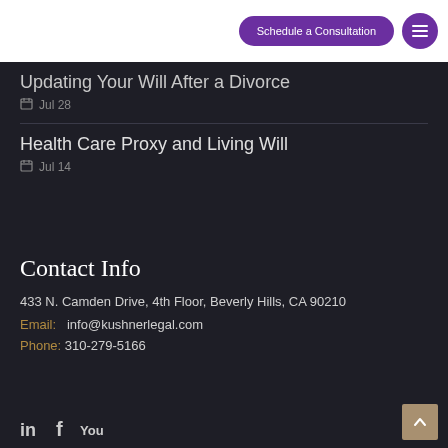Schedule a Consultation
Updating Your Will After a Divorce
Jul 28
Health Care Proxy and Living Will
Jul 14
Contact Info
433 N. Camden Drive, 4th Floor, Beverly Hills, CA 90210
Email: info@kushnerlegal.com
Phone: 310-279-5166